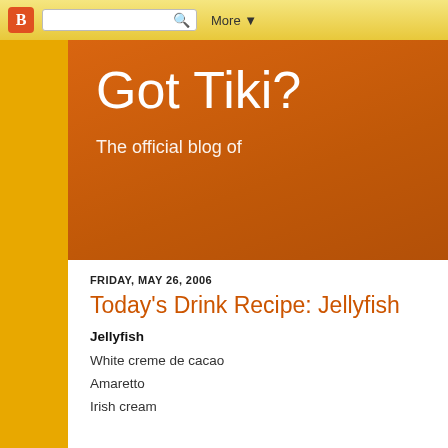Blogger nav bar with search and More button
Got Tiki?
The official blog of
FRIDAY, MAY 26, 2006
Today's Drink Recipe: Jellyfish
Jellyfish
White creme de cacao
Amaretto
Irish cream